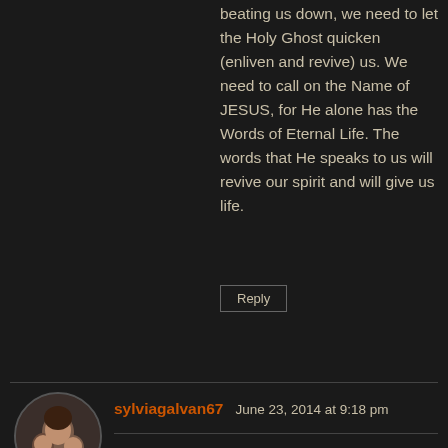beating us down, we need to let the Holy Ghost quicken (enliven and revive) us. We need to call on the Name of JESUS, for He alone has the Words of Eternal Life. The words that He speaks to us will revive our spirit and will give us life.
Reply
[Figure (photo): Circular avatar photo of a woman with children]
sylviagalvan67  June 23, 2014 at 9:18 pm
Prayer for Restoration
Psalm 80 This psalm is concerned in its entirety with Israel, the northern kingdom. It seems refer to the fall of Samaria, the capital , in 722 B.C. and constitutes a prayer that the Lord would restore His people.
Reply
[Figure (photo): Circular avatar photo partially visible at bottom]